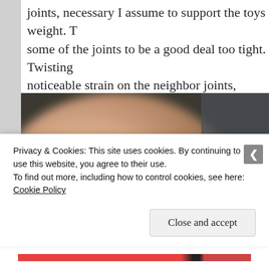joints, necessary I assume to support the toys weight. T some of the joints to be a good deal too tight. Twisting noticeable strain on the neighbor joints, something tha lead to breaking if not handled carefully. The tool is the In the images below, I tried to demonstrate somewhat h
[Figure (photo): Close-up photo of a hand using a tool on a joint/mechanical part against a dark background]
Privacy & Cookies: This site uses cookies. By continuing to use this website, you agree to their use.
To find out more, including how to control cookies, see here: Cookie Policy